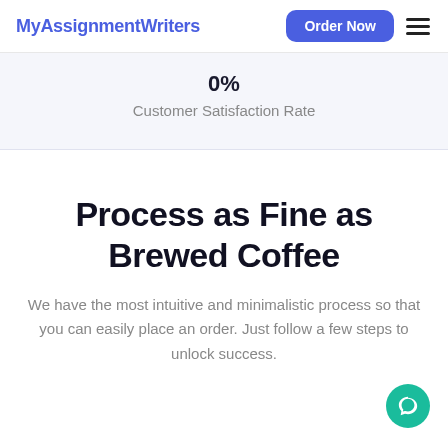MyAssignmentWriters
0%
Customer Satisfaction Rate
Process as Fine as Brewed Coffee
We have the most intuitive and minimalistic process so that you can easily place an order. Just follow a few steps to unlock success.